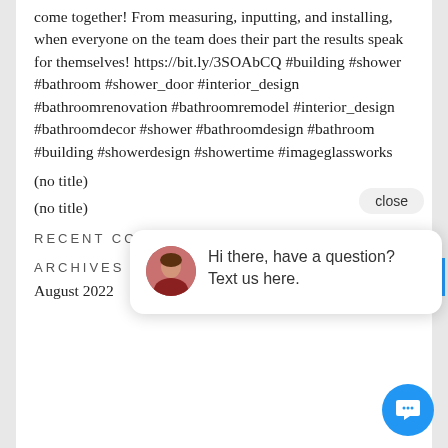come together! From measuring, inputting, and installing, when everyone on the team does their part the results speak for themselves! https://bit.ly/3SOAbCQ #building #shower #bathroom #shower_door #interior_design #bathroomrenovation #bathroomremodel #interior_design #bathroomdecor #shower #bathroomdesign #bathroom #building #showerdesign #showertime #imageglassworks
(no title)
(no title)
RECENT COMMENTS
ARCHIVES
August 2022
[Figure (other): Chat popup with avatar photo of a woman, text saying 'Hi there, have a question? Text us here.' and a close button, plus a blue chat bubble button in the bottom right corner.]